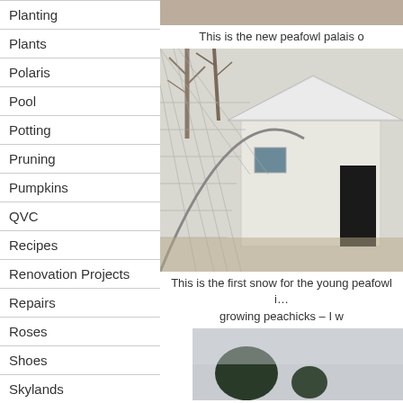Planting
Plants
Polaris
Pool
Potting
Pruning
Pumpkins
QVC
Recipes
Renovation Projects
Repairs
Roses
Shoes
Skylands
Snoop Dogg
Snow
Social Media
[Figure (photo): Partial view of peafowl palais building at top of right column]
This is the new peafowl palais o
[Figure (photo): White shed/coop structure with wire fencing, snow on roof, bare trees in background — first snow for young peafowl]
This is the first snow for the young peafowl i… growing peachicks – I w
[Figure (photo): Snowy landscape with trees visible at bottom of right column]